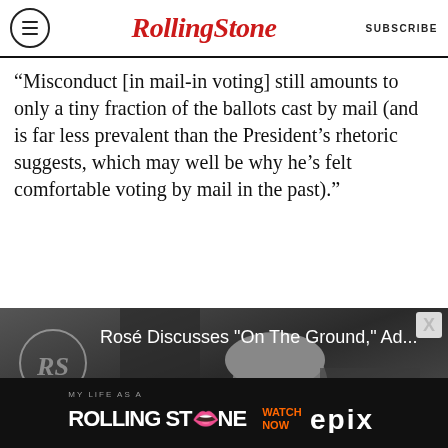RollingStone | SUBSCRIBE
“Misconduct [in mail-in voting] still amounts to only a tiny fraction of the ballots cast by mail (and is far less prevalent than the President’s rhetoric suggests, which may well be why he’s felt comfortable voting by mail in the past).”
[Figure (screenshot): Video thumbnail showing Rosé Discusses "On The Ground," Ad... with a Rolling Stone RS watermark and play button overlay, grayscale photo of a smiling woman]
[Figure (illustration): Advertisement banner: MY LIFE AS A ROLLING STONE WATCH NOW EPIX]